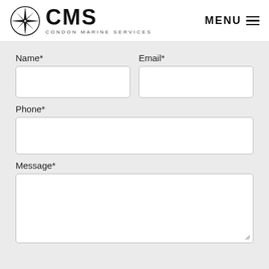CMS CONDON MARINE SERVICES — MENU
Name*
Email*
Phone*
Message*